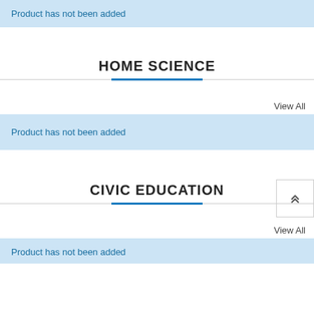Product has not been added
HOME SCIENCE
View All
Product has not been added
CIVIC EDUCATION
View All
Product has not been added